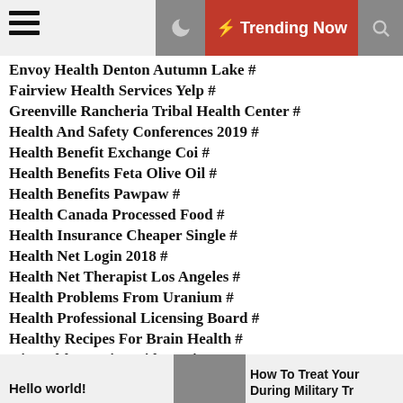☰  ☾  ⚡ Trending Now  🔍
Envoy Health Denton Autumn Lake #
Fairview Health Services Yelp #
Greenville Rancheria Tribal Health Center #
Health And Safety Conferences 2019 #
Health Benefit Exchange Coi #
Health Benefits Feta Olive Oil #
Health Benefits Pawpaw #
Health Canada Processed Food #
Health Insurance Cheaper Single #
Health Net Login 2018 #
Health Net Therapist Los Angeles #
Health Problems From Uranium #
Health Professional Licensing Board #
Healthy Recipes For Brain Health #
Hi Health Hearing Aids Reviews #
Horton Valley Behavioral Health #
Hospital Sisters Health System Number #
Hello world!  How To Treat Your During Military Tr